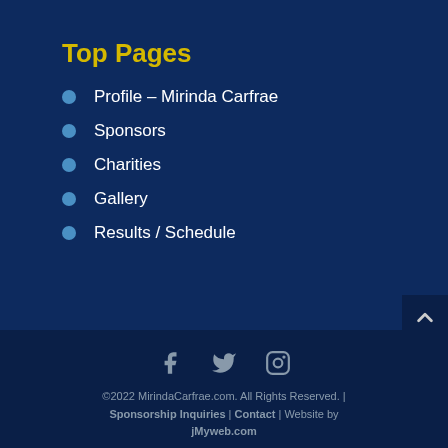Top Pages
Profile – Mirinda Carfrae
Sponsors
Charities
Gallery
Results / Schedule
[Figure (other): Social media icons: Facebook, Twitter, Instagram]
©2022 MirindaCarfrae.com. All Rights Reserved. | Sponsorship Inquiries | Contact | Website by jMyweb.com